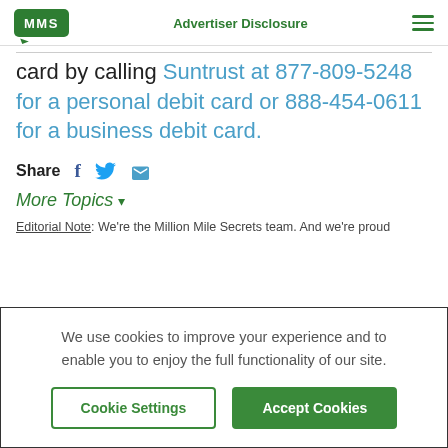MMS | Advertiser Disclosure
card by calling Suntrust at 877-809-5248 for a personal debit card or 888-454-0611 for a business debit card.
Share
More Topics
Editorial Note: We're the Million Mile Secrets team. And we're proud
We use cookies to improve your experience and to enable you to enjoy the full functionality of our site.